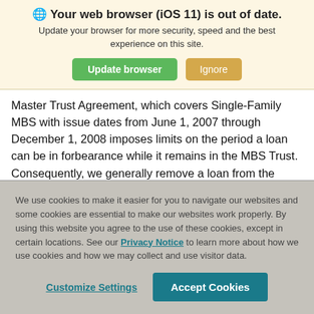Your web browser (iOS 11) is out of date.
Update your browser for more security, speed and the best experience on this site.
Master Trust Agreement, which covers Single-Family MBS with issue dates from June 1, 2007 through December 1, 2008 imposes limits on the period a loan can be in forbearance while it remains in the MBS Trust. Consequently, we generally remove a loan from the MBS Trust once the period of
We use cookies to make it easier for you to navigate our websites and some cookies are essential to make our websites work properly. By using this website you agree to the use of these cookies, except in certain locations. See our Privacy Notice to learn more about how we use cookies and how we may collect and use visitor data.